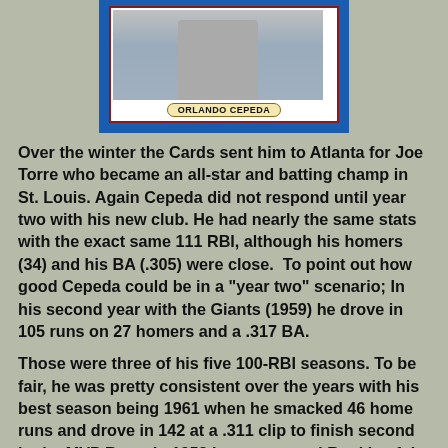[Figure (photo): Baseball trading card for Orlando Cepeda with blue border, red inner border, and name banner on cream background]
Over the winter the Cards sent him to Atlanta for Joe Torre who became an all-star and batting champ in St. Louis. Again Cepeda did not respond until year two with his new club. He had nearly the same stats with the exact same 111 RBI, although his homers (34) and his BA (.305) were close.  To point out how good Cepeda could be in a "year two" scenario; In his second year with the Giants (1959) he drove in 105 runs on 27 homers and a .317 BA.
Those were three of his five 100-RBI seasons. To be fair, he was pretty consistent over the years with his best season being 1961 when he smacked 46 home runs and drove in 142 at a .311 clip to finish second in the MVP Race. In 1958 he was named Rookie of the Year, again by unanimous vote. Orlando Cepeda was some kind of player and worthy of his Hall of Fame induction.